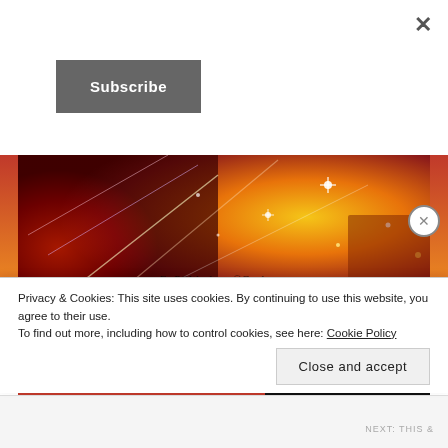×
Subscribe
[Figure (photo): Colorful glowing abstract light burst image with fireworks-like streaks of gold, red, pink, and purple sparkles. Watermark text reads: EmPOWordment©Cards.com]
Oh my goodness you need to shine your light and share your life with the world!! We NEED you and your amazing self! Every single one of us–yes, that's YOU–has a special, unique, and utterly awesome LIGHT within us and so many either
Privacy & Cookies: This site uses cookies. By continuing to use this website, you agree to their use.
To find out more, including how to control cookies, see here: Cookie Policy
Close and accept
NEXT: THIS &